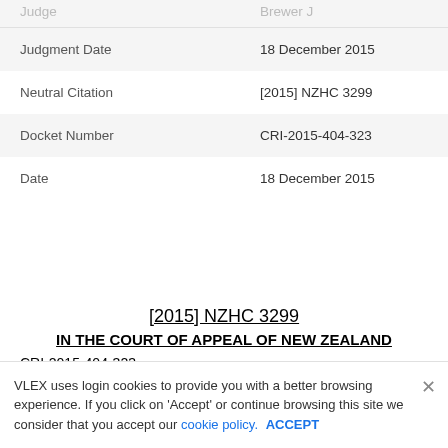| Field | Value |
| --- | --- |
| Judgment Date | 18 December 2015 |
| Neutral Citation | [2015] NZHC 3299 |
| Docket Number | CRI-2015-404-323 |
| Date | 18 December 2015 |
[2015] NZHC 3299
IN THE COURT OF APPEAL OF NEW ZEALAND
CRI-2015-404-323
BETWEEN
Chin Keon (Daniel) Tan
Appellant
and
Auckland Council
VLEX uses login cookies to provide you with a better browsing experience. If you click on 'Accept' or continue browsing this site we consider that you accept our cookie policy. ACCEPT